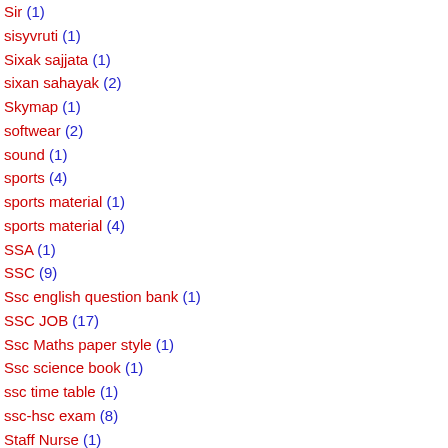Sir (1)
sisyvruti (1)
Sixak sajjata (1)
sixan sahayak (2)
Skymap (1)
softwear (2)
sound (1)
sports (4)
sports material (1)
sports material (4)
SSA (1)
SSC (9)
Ssc english question bank (1)
SSC JOB (17)
Ssc Maths paper style (1)
Ssc science book (1)
ssc time table (1)
ssc-hsc exam (8)
Staff Nurse (1)